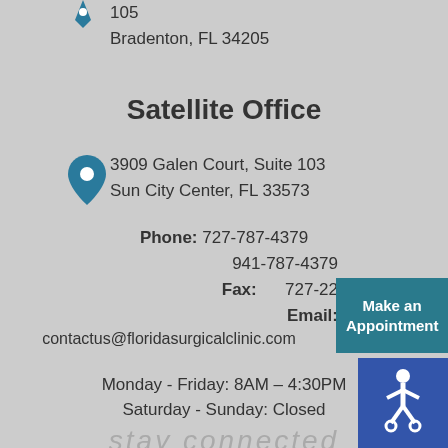105
Bradenton, FL 34205
Satellite Office
3909 Galen Court, Suite 103
Sun City Center, FL 33573
Phone: 727-787-4379
941-787-4379
Fax: 727-22...
Email:
contactus@floridasurgicalclinic.com
Monday - Friday: 8AM – 4:30PM
Saturday - Sunday: Closed
stay connected